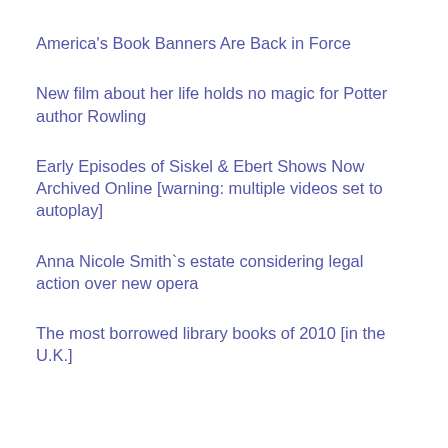America's Book Banners Are Back in Force
New film about her life holds no magic for Potter author Rowling
Early Episodes of Siskel & Ebert Shows Now Archived Online [warning: multiple videos set to autoplay]
Anna Nicole Smith`s estate considering legal action over new opera
The most borrowed library books of 2010 [in the U.K.]